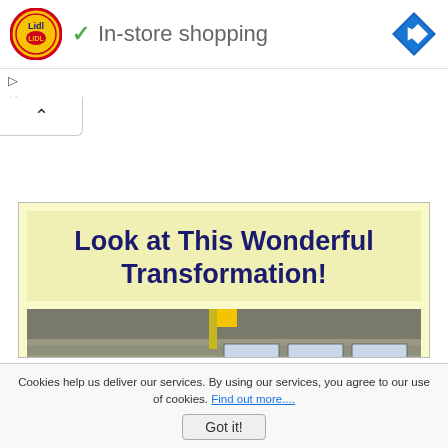[Figure (logo): Lidl logo — yellow circle with red border and blue Lidl text, alongside a green checkmark and 'In-store shopping' text, and a blue diamond navigation icon on the right]
In-store shopping
[Figure (screenshot): A web page section with a pale yellow background showing the headline 'Look at This Wonderful Transformation!' in bold dark navy text, and below it a partial photo of a building exterior]
Look at This Wonderful Transformation!
Cookies help us deliver our services. By using our services, you agree to our use of cookies. Find out more....
Got it!